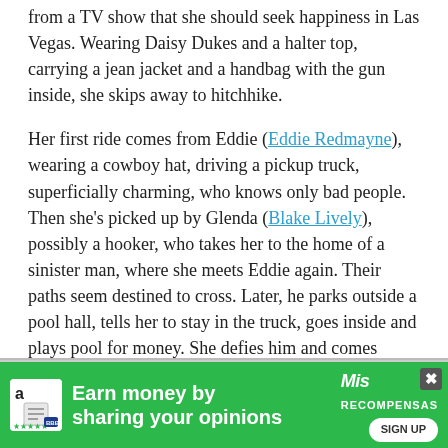from a TV show that she should seek happiness in Las Vegas. Wearing Daisy Dukes and a halter top, carrying a jean jacket and a handbag with the gun inside, she skips away to hitchhike.
Her first ride comes from Eddie (Eddie Redmayne), wearing a cowboy hat, driving a pickup truck, superficially charming, who knows only bad people. Then she's picked up by Glenda (Blake Lively), possibly a hooker, who takes her to the home of a sinister man, where she meets Eddie again. Their paths seem destined to cross. Later, he parks outside a pool hall, tells her to stay in the truck, goes inside and plays pool for money. She defies him and comes inside. When he doubles up and loses, he seems to imply the winner can settle the bet with sex with Luli, but maybe that's not what he meant, because soon enough, he interrupts a rape in the ladies' room by bashing in the man's head with a sink he rips from the wall.
[Figure (infographic): Green advertisement banner: 'Earn money by sharing your opinions' with Amazon logo, survey icon, Mis Recompensas branding, and SIGN UP button. Close button in top right corner.]